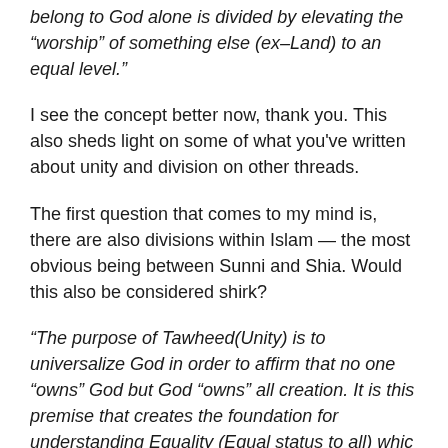belong to God alone is divided by elevating the “worship” of something else (ex–Land) to an equal level.”
I see the concept better now, thank you. This also sheds light on some of what you've written about unity and division on other threads.
The first question that comes to my mind is, there are also divisions within Islam — the most obvious being between Sunni and Shia. Would this also be considered shirk?
“The purpose of Tawheed(Unity) is to universalize God in order to affirm that no one “owns” God but God “owns” all creation. It is this premise that creates the foundation for understanding Equality (Equal status to all) which